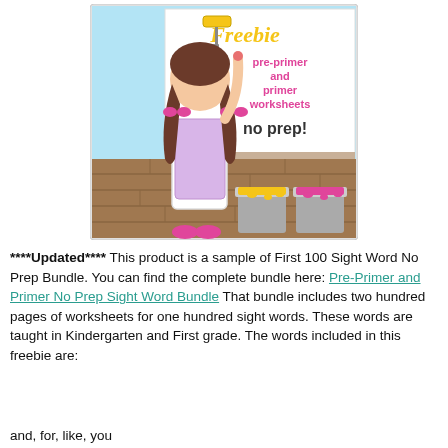[Figure (illustration): Cartoon illustration of a girl with brown braided hair and pink bows, wearing a white apron, painting on a wall. Text on the painted area reads 'Freebie pre-primer and primer worksheets no prep!' in colorful fonts. Two paint cans (yellow and pink) sit on the ground beside her.]
****Updated**** This product is a sample of First 100 Sight Word No Prep Bundle. You can find the complete bundle here: Pre-Primer and Primer No Prep Sight Word Bundle That bundle includes two hundred pages of worksheets for one hundred sight words. These words are taught in Kindergarten and First grade. The words included in this freebie are:
and, for, like, you